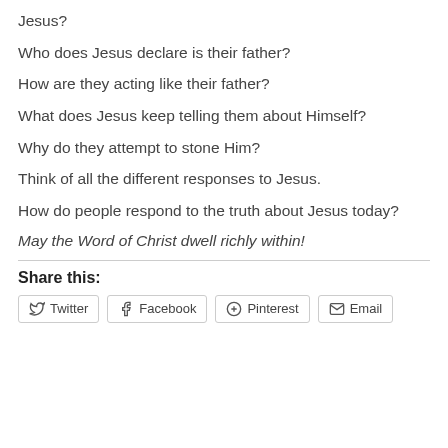Jesus?
Who does Jesus declare is their father?
How are they acting like their father?
What does Jesus keep telling them about Himself?
Why do they attempt to stone Him?
Think of all the different responses to Jesus.
How do people respond to the truth about Jesus today?
May the Word of Christ dwell richly within!
Share this:
Twitter  Facebook  Pinterest  Email